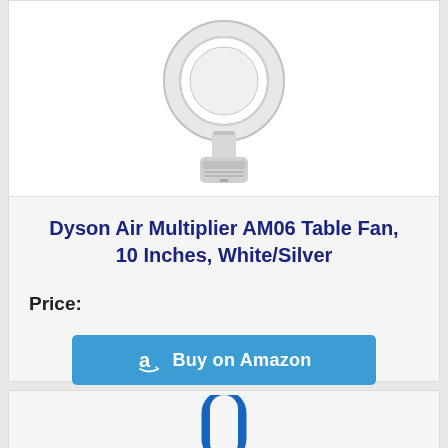[Figure (photo): Dyson Air Multiplier AM06 bladeless table fan, white and silver color, shown on white background]
Dyson Air Multiplier AM06 Table Fan, 10 Inches, White/Silver
Price:
[Figure (other): Buy on Amazon button with Amazon logo]
[Figure (photo): Partial view of a Dyson bladeless fan in blue/white color, bottom of page]